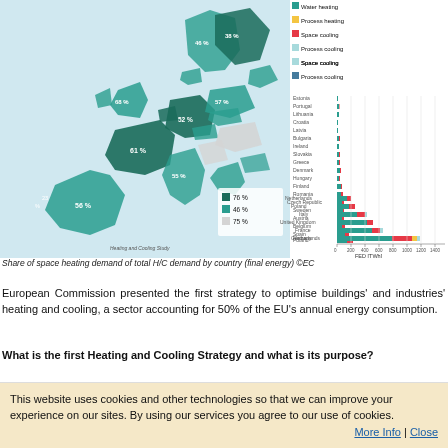[Figure (infographic): Left panel: EU map with countries colored in dark teal (76%), teal (46%), and light grey (75%) showing share of space heating demand by country. Right panel: Horizontal stacked bar chart showing FED [TWh] by country with bars for Space heating (teal), Water heating (yellow), Process heating (red), Space cooling (light blue), and Process cooling (blue). Countries listed from Estonia at top to Germany at bottom. Germany shows the largest bar extending to ~1400 TWh.]
Share of space heating demand of total H/C demand by country (final energy) ©EC
European Commission presented the first strategy to optimise buildings' and industries' heating and cooling, a sector accounting for 50% of the EU's annual energy consumption.
What is the first Heating and Cooling Strategy and what is its purpose?
This website uses cookies and other technologies so that we can improve your experience on our sites. By using our services you agree to our use of cookies.